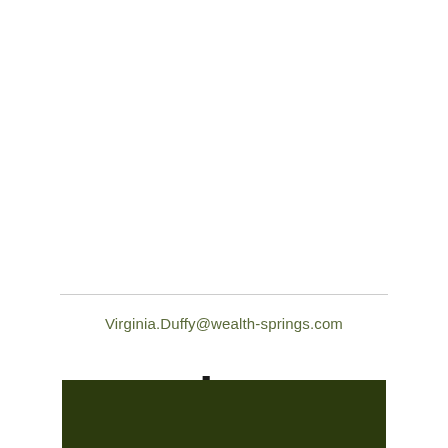Virginia.Duffy@wealth-springs.com
[Figure (logo): LinkedIn 'in' logo icon in black]
[Figure (other): Dark olive green rectangular bar at the bottom of the page]